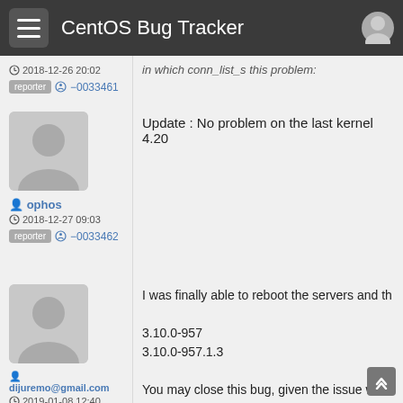CentOS Bug Tracker
in which conn_list_s this problem:
2018-12-26 20:02
reporter  -0033461
[Figure (illustration): User avatar placeholder - grey silhouette]
ophos
2018-12-27 09:03
reporter  -0033462
Update : No problem on the last kernel 4.20
[Figure (illustration): User avatar placeholder - grey silhouette]
dijuremo@gmail.com
2019-01-08 12:40
reporter  -0033537
I was finally able to reboot the servers and th
3.10.0-957
3.10.0-957.1.3
You may close this bug, given the issue was th